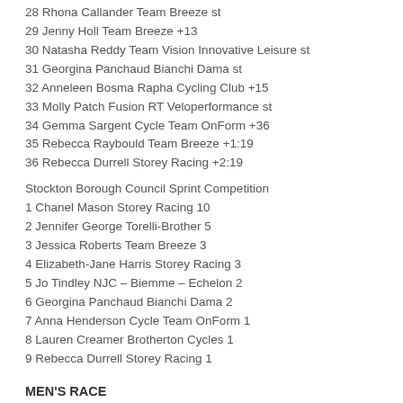28 Rhona Callander Team Breeze st
29 Jenny Holl Team Breeze +13
30 Natasha Reddy Team Vision Innovative Leisure st
31 Georgina Panchaud Bianchi Dama st
32 Anneleen Bosma Rapha Cycling Club +15
33 Molly Patch Fusion RT Veloperformance st
34 Gemma Sargent Cycle Team OnForm +36
35 Rebecca Raybould Team Breeze +1:19
36 Rebecca Durrell Storey Racing +2:19
Stockton Borough Council Sprint Competition
1 Chanel Mason Storey Racing 10
2 Jennifer George Torelli-Brother 5
3 Jessica Roberts Team Breeze 3
4 Elizabeth-Jane Harris Storey Racing 3
5 Jo Tindley NJC – Biemme – Echelon 2
6 Georgina Panchaud Bianchi Dama 2
7 Anna Henderson Cycle Team OnForm 1
8 Lauren Creamer Brotherton Cycles 1
9 Rebecca Durrell Storey Racing 1
MEN'S RACE
1 Matthew Gibson JLT Condor 2:12:45
2 Matthew Walls 100% ME st
3 Emils Liepins One Pro Cycling st
4 Daniel Tulett 100% ME st